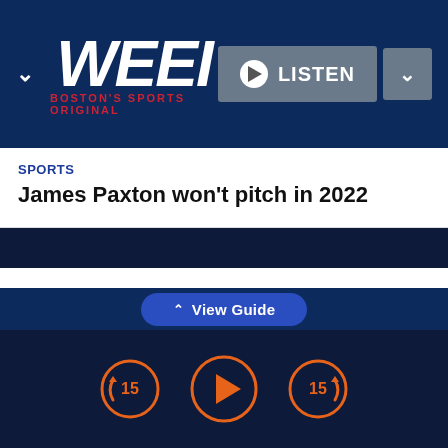WEEI — BOSTON'S SPORTS ORIGINAL
SPORTS
James Paxton won't pitch in 2022
efforts NEXT season? Mayor Elorza had better watch out for his job...that is, if Ed wants it.
In the “It’s Way Too Early” department: ESPN bracketologist Joe Lunardi has six Big East teams presently pegged for the NCAA Tournament next
View Guide